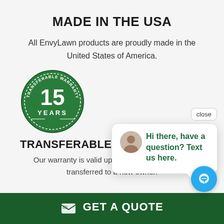MADE IN THE USA
All EnvyLawn products are proudly made in the United States of America.
[Figure (logo): Green circular badge with '15 YEARS' and 'TRANSFERABLE WARRANTY' text around the border]
TRANSFERABLE WARRANTY
Our warranty is valid up to 15 years and can be transferred to a new owner.
close
Hi there, have a question? Text us here.
GET A QUOTE